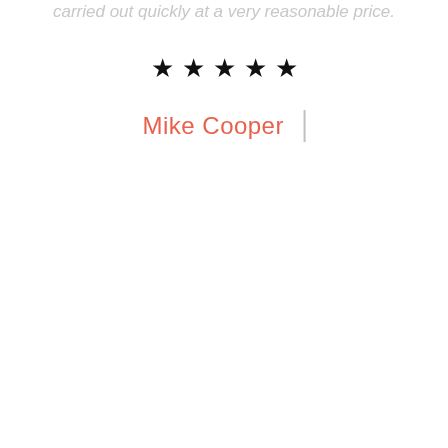carried out quickly at a very reasonable price.
[Figure (other): Five filled black stars rating]
Mike Cooper  |